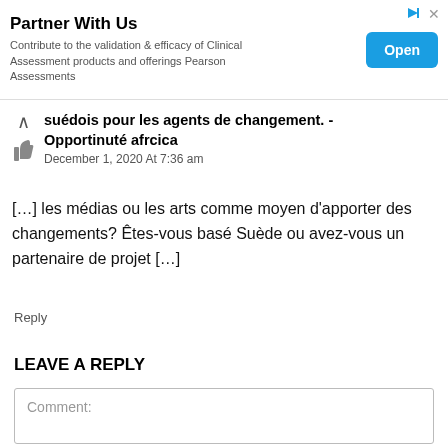[Figure (other): Advertisement banner: 'Partner With Us' — Contribute to the validation & efficacy of Clinical Assessment products and offerings Pearson Assessments. Blue 'Open' button on the right.]
suédois pour les agents de changement. - Opportinuté afrcica
December 1, 2020 At 7:36 am
[…] les médias ou les arts comme moyen d'apporter des changements? Êtes-vous basé Suède ou avez-vous un partenaire de projet […]
Reply
LEAVE A REPLY
Comment: